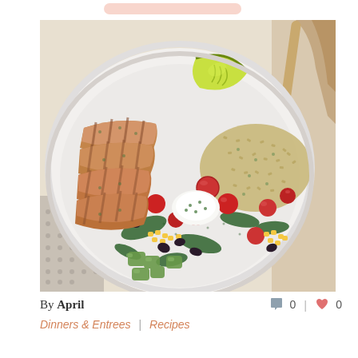[Figure (photo): Overhead view of a large white bowl containing a salad/bowl meal with grilled sliced chicken, cherry tomatoes, corn, black beans, avocado chunks, spinach leaves, a dollop of sour cream or yogurt, brown rice or cauliflower rice, and a lime wedge garnish. Wooden utensils visible in the upper right corner.]
By April
0  |  ♥ 0
Dinners & Entrees  |  Recipes